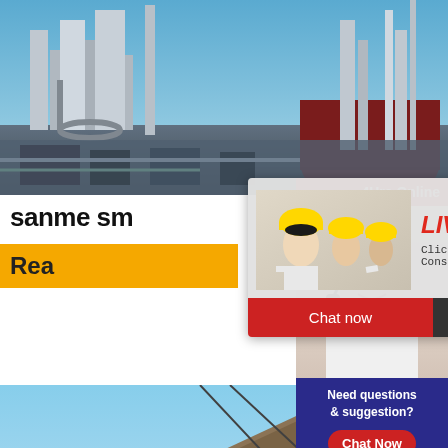[Figure (photo): Industrial facility/cement plant with towers and structures against blue sky]
sanme sm
[Figure (infographic): Live chat popup overlay with workers in yellow hard hats, LIVE CHAT title, 'Click for a Free Consultation', Chat now and Chat later buttons]
[Figure (photo): Right sidebar with customer service agent wearing headset, 24Hrs Online banner, Need questions & suggestion?, Chat Now button, Enquiry link, limingjlmofen link]
Rea
[Figure (photo): Industrial conveyor belt at an angle against blue sky with dust/material]
Need questions & suggestion?
Chat Now
Enquiry
limingjlmofen